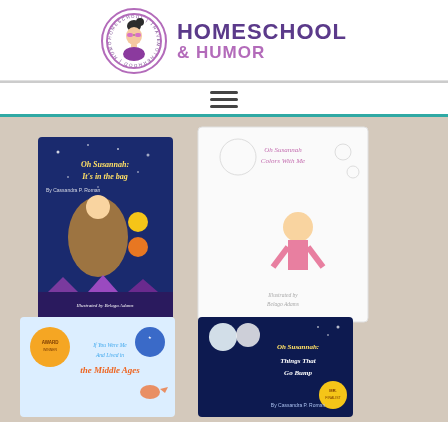[Figure (logo): Circular logo with illustrated woman wearing sunglasses and hair bun, text around the circle reading 'homeschool motherhood travel']
HOMESCHOOL & HUMOR
[Figure (illustration): Hamburger menu icon with three horizontal lines]
[Figure (photo): Photo of four children's books on a table: 'Oh Susannah: It's in the bag' (dark blue cover with illustrated girl flying), 'Oh Susannah Colors With Me' (white coloring book cover with illustrated girl and objects), 'If You Were Me and Lived in the Middle Ages' (light blue cover with illustrated medieval characters), and 'Oh Susannah: Things That Go Bump' (dark navy cover). Books have award badges/stickers on them.]